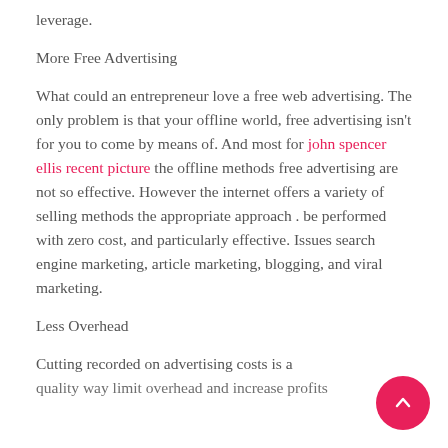leverage.
More Free Advertising
What could an entrepreneur love a free web advertising. The only problem is that your offline world, free advertising isn't for you to come by means of. And most for john spencer ellis recent picture the offline methods free advertising are not so effective. However the internet offers a variety of selling methods the appropriate approach . be performed with zero cost, and particularly effective. Issues search engine marketing, article marketing, blogging, and viral marketing.
Less Overhead
Cutting recorded on advertising costs is a quality way limit overhead and increase profits